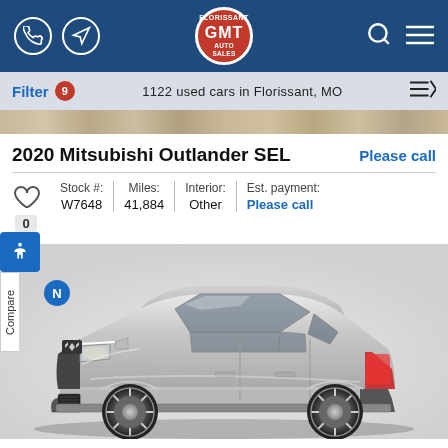GMT Florissant Trafers Auto Sales — navigation header
Filter 9   1122 used cars in Florissant, MO
2020 Mitsubishi Outlander SEL
Please call
| Stock #: | Miles: | Interior: | Est. payment: |
| --- | --- | --- | --- |
| W7648 | 41,884 | Other | Please call |
[Figure (photo): Silver 2020 Mitsubishi Outlander SEL SUV, front three-quarter view on white/grey background]